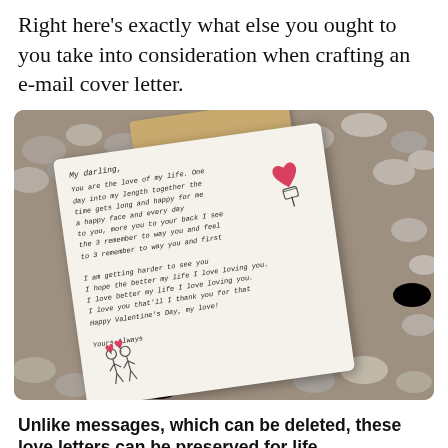Right here's exactly what else you ought to you take into consideration when crafting an e-mail cover letter.
[Figure (photo): A handwritten love letter on white paper with a heart balloon illustration and a couple illustration, placed on a bed of grey pebbles with a brown envelope flap visible behind it.]
Unlike messages, which can be deleted, these love letters can be preserved for life